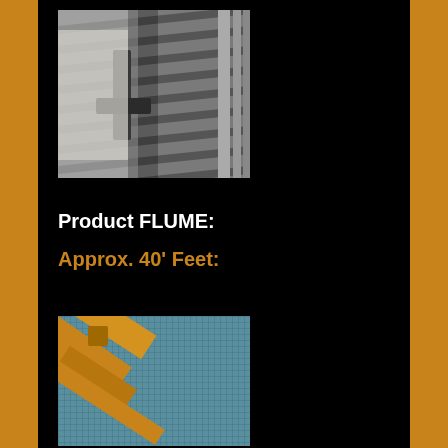[Figure (photo): Close-up photo of industrial metal flume/chute structure from an aerial or angled perspective, showing metallic surfaces, brackets and channels]
Product FLUME:
Approx. 40' Feet:
[Figure (photo): Close-up photo of a blue mesh/screen material with gold or yellow metal frame/bracket hardware, part of the flume product]